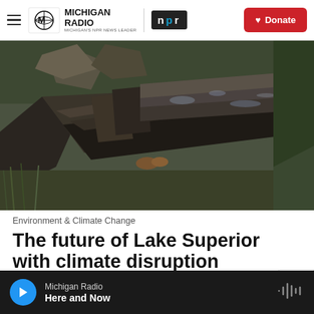Michigan Radio | NPR | Donate
[Figure (photo): A decaying wooden boat or hull lying in overgrown grass and vegetation. The weathered gray wooden planks are broken and collapsed inward, with green plants growing through and around it.]
Environment & Climate Change
The future of Lake Superior with climate disruption
Michigan Radio — Here and Now (audio player bar)